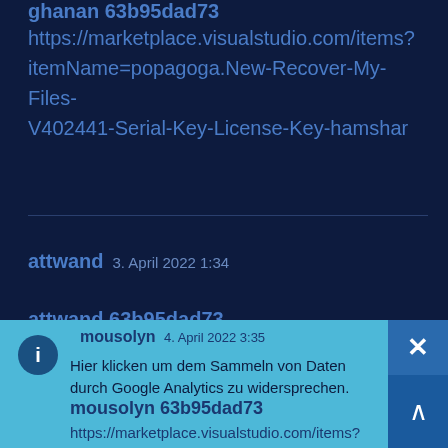ghanan 63b95dad73
https://marketplace.visualstudio.com/items?itemName=popagoga.New-Recover-My-Files-V402441-Serial-Key-License-Key-hamshar
attwand   3. April 2022 1:34
attwand 63b95dad73
https://marketplace.visualstudio.com/items?itemName=gefurcauhi.HOT-The-Spy-2013-Korean-Movie-Download
mousolyn   4. April 2022 3:35
Hier klicken um dem Sammeln von Daten durch Google Analytics zu widersprechen.
mousolyn 63b95dad73
https://marketplace.visualstudio.com/items?